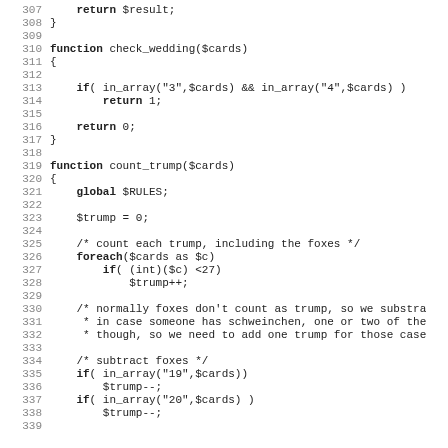[Figure (screenshot): PHP source code listing showing functions check_wedding and count_trump, with line numbers 307-339]